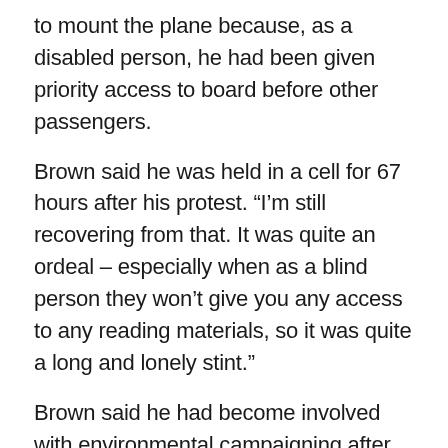to mount the plane because, as a disabled person, he had been given priority access to board before other passengers.
Brown said he was held in a cell for 67 hours after his protest. “I’m still recovering from that. It was quite an ordeal – especially when as a blind person they won’t give you any access to any reading materials, so it was quite a long and lonely stint.”
Brown said he had become involved with environmental campaigning after hs daughter told him of her concerns over biodiversity and the climate emergency. He said he had taken action because the government was not fulfilling its responsibilities to protect people.
He added: “We have to take it in our own hands and